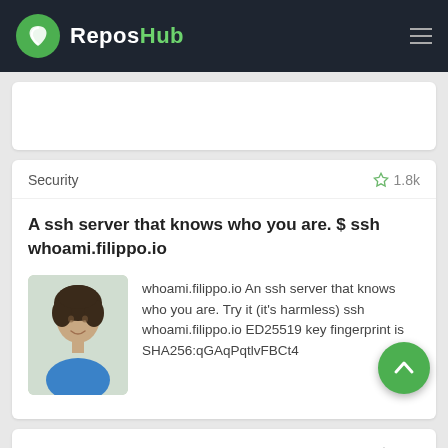ReposHub
Security  ☆ 1.8k
A ssh server that knows who you are. $ ssh whoami.filippo.io
whoami.filippo.io An ssh server that knows who you are. Try it (it's harmless) ssh whoami.filippo.io ED25519 key fingerprint is SHA256:qGAqPqtlvFBCt4
Security  ☆ 265